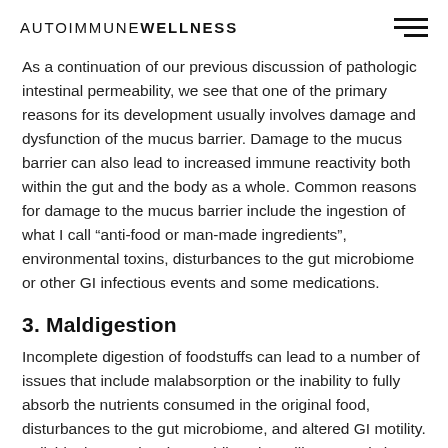AUTOIMMUNEWELLNESS
As a continuation of our previous discussion of pathologic intestinal permeability, we see that one of the primary reasons for its development usually involves damage and dysfunction of the mucus barrier. Damage to the mucus barrier can also lead to increased immune reactivity both within the gut and the body as a whole. Common reasons for damage to the mucus barrier include the ingestion of what I call “anti-food or man-made ingredients”, environmental toxins, disturbances to the gut microbiome or other GI infectious events and some medications.
3. Maldigestion
Incomplete digestion of foodstuffs can lead to a number of issues that include malabsorption or the inability to fully absorb the nutrients consumed in the original food, disturbances to the gut microbiome, and altered GI motility. Individuals experiencing maldigestion will commonly have symptoms of bloating, belching and disturbed motility such